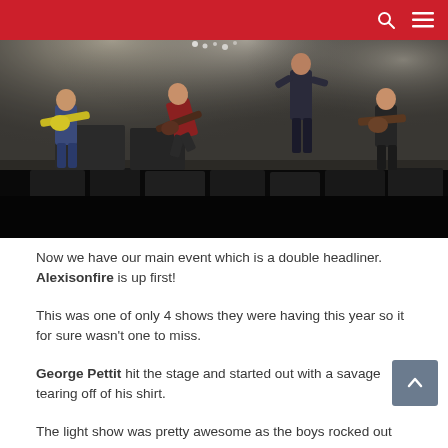[Figure (photo): Concert photo showing a band performing on stage with dramatic lighting and fog. Multiple musicians visible: guitarist on left in blue shirt, guitarist in red/maroon in center leaping, bassist/vocalist in center background standing elevated, guitarist on right in dark shirt. Stage monitors and equipment visible in foreground.]
Now we have our main event which is a double headliner. Alexisonfire is up first!
This was one of only 4 shows they were having this year so it for sure wasn't one to miss.
George Pettit hit the stage and started out with a savage tearing off of his shirt.
The light show was pretty awesome as the boys rocked out